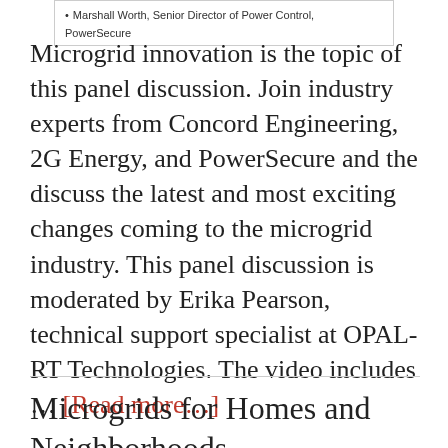Marshall Worth, Senior Director of Power Control, PowerSecure
Microgrid innovation is the topic of this panel discussion. Join industry experts from Concord Engineering, 2G Energy, and PowerSecure and the discuss the latest and most exciting changes coming to the microgrid industry. This panel discussion is moderated by Erika Pearson, technical support specialist at OPAL-RT Technologies. The video includes … [Read more…]
Microgrids for Homes and Neighborhoods